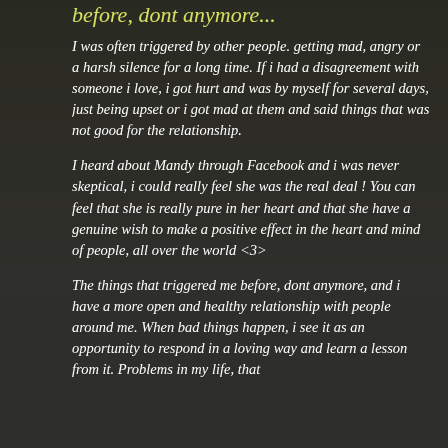before, dont anymore...
I was often triggered by other people. getting mad, angry or a harsh silence for a long time. If i had a disagreement with someone i love, i got hurt and was by myself for several days, just being upset or i got mad at them and said things that was not good for the relationship.
I heard about Mandy through Facebook and i was never skeptical, i could really feel she was the real deal ! You can feel that she is really pure in her heart and that she have a genuine wish to make a positive effect in the heart and mind of people, all over the world <3>
The things that triggered me before, dont anymore, and i have a more open and healthy relationship with people around me. When bad things happen, i see it as an opportunity to respond in a loving way and learn a lesson from it. Problems in my life, that